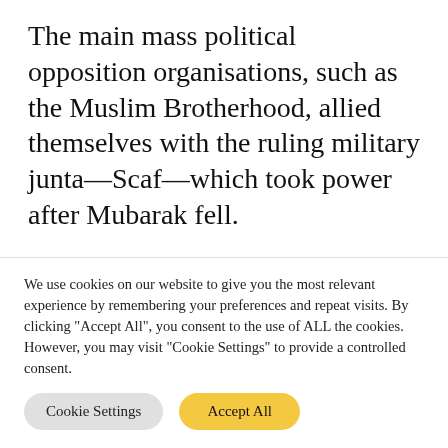The main mass political opposition organisations, such as the Muslim Brotherhood, allied themselves with the ruling military junta—Scaf—which took power after Mubarak fell.
They wanted to push for a procedural democracy and stop the waves of the revolution. These waves kept bringing new sections of the oppressed into struggle as well
We use cookies on our website to give you the most relevant experience by remembering your preferences and repeat visits. By clicking "Accept All", you consent to the use of ALL the cookies. However, you may visit "Cookie Settings" to provide a controlled consent.